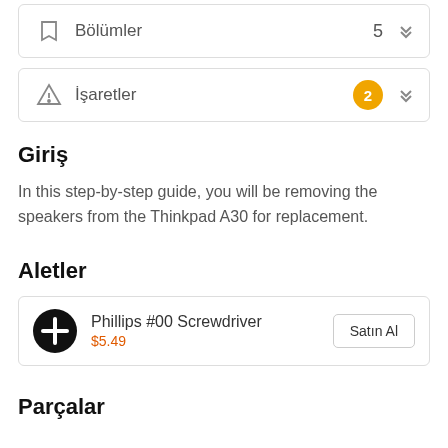Bölümler  5
İşaretler  2
Giriş
In this step-by-step guide, you will be removing the speakers from the Thinkpad A30 for replacement.
Aletler
Phillips #00 Screwdriver $5.49  Satın Al
Parçalar